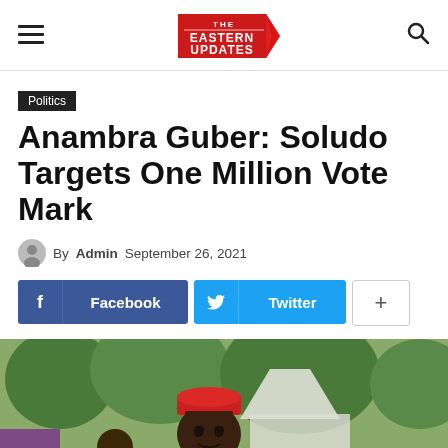The Eastern Updates
Politics
Anambra Guber: Soludo Targets One Million Vote Mark
By Admin September 26, 2021
[Figure (infographic): Social share buttons: Facebook, Twitter, and a plus button for more sharing options]
[Figure (photo): A man wearing a red traditional cap (Igbo chieftaincy cap) in an outdoor setting with trees and a white structure in the background. Another person is visible behind him.]